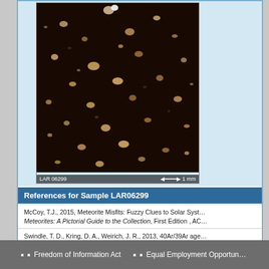[Figure (photo): Microscope image of meteorite sample LAR 06299 showing dark matrix with light-colored mineral fragments. Scale bar shows 1 mm.]
References for Sample LAR06299
| McCoy, T.J., 2015, Meteorite Misfits: Fuzzy Clues to Solar Syst... Meteorites: A Pictorial Guide to the Collection, First Edition , AC... |
| Swindle, T. D., Kring, D. A., Weirich, J. R., 2013, 40Ar/39Ar age... London, Special Publications, 378 , 2013 , SP378-6 . |
| Rubin, A. E., Moore, W. B., 2011, What's up? Preservation of g... Meteoritics & Planetary Science, 46 , 737-747 , http://dx.doi.... |
| RELAB, , Reflectance Experiment Lab , catalogue of sampl... |
Freedom of Information Act   Equal Employment Opportu...